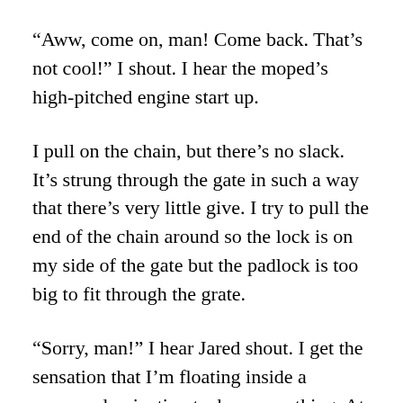“Aww, come on, man! Come back. That’s not cool!” I shout. I hear the moped’s high-pitched engine start up.
I pull on the chain, but there’s no slack. It’s strung through the gate in such a way that there’s very little give. I try to pull the end of the chain around so the lock is on my side of the gate but the padlock is too big to fit through the grate.
“Sorry, man!” I hear Jared shout. I get the sensation that I’m floating inside a sensory deprivation tank or something. At least in what I imagine a sensory deprivation tank feels like cuz I’ve never been in one or even seen one for